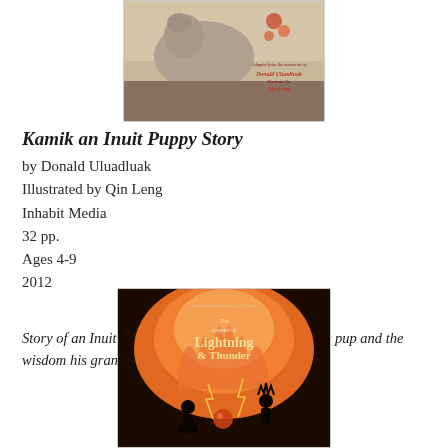[Figure (illustration): Book cover of Kamik an Inuit Puppy Story showing a dog illustration with text crediting Donald Uluadluak and Qin Leng]
Kamik an Inuit Puppy Story
by Donald Uluadluak
Illustrated by Qin Leng
Inhabit Media
32 pp.
Ages 4-9
2012
Story of an Inuit boy and his expectations for his new pup and the wisdom his grandfather shares with him.
[Figure (illustration): Book cover of The Legend of Lightning & Thunder showing two silhouetted figures with fire and lightning effects]